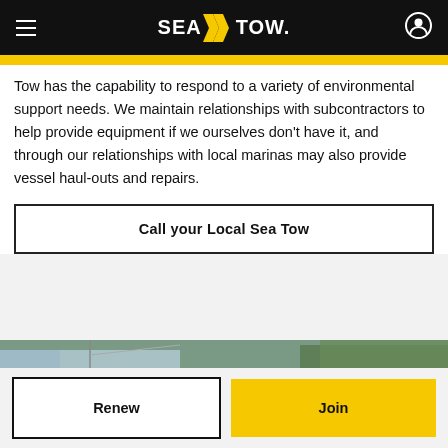Sea Tow navigation bar with logo, hamburger menu, and account icon
Tow has the capability to respond to a variety of environmental support needs. We maintain relationships with subcontractors to help provide equipment if we ourselves don't have it, and through our relationships with local marinas may also provide vessel haul-outs and repairs.
Call your Local Sea Tow
[Figure (photo): Aerial/outdoor photo showing a boat near waterway with green vegetation]
Renew
Join